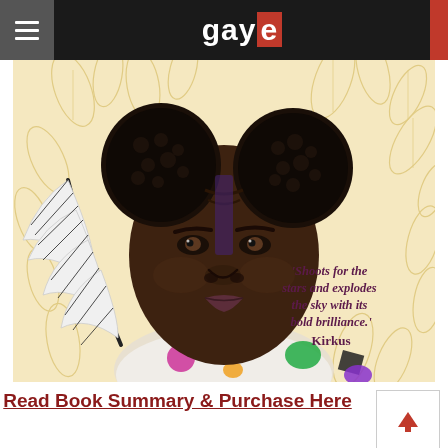gaye
[Figure (illustration): Illustrated portrait of a young Black girl with two puff buns hairstyle, holding a large black and white feather, wearing a white patterned top. Background has golden leaf/feather pattern. Quote overlay: 'Shoots for the stars and explodes the sky with its bold brilliance.' Kirkus]
Read Book Summary & Purchase Here